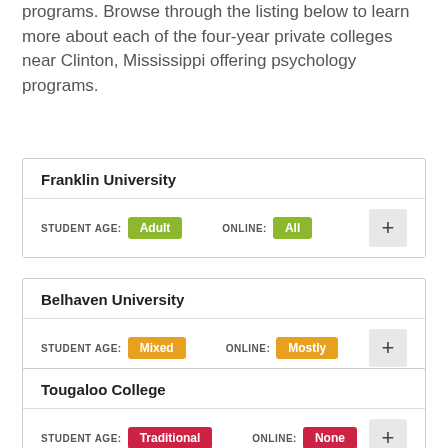programs. Browse through the listing below to learn more about each of the four-year private colleges near Clinton, Mississippi offering psychology programs.
| University | Student Age | Online |
| --- | --- | --- |
| Franklin University | Adult | All |
| Belhaven University | Mixed | Mostly |
| Tougaloo College | Traditional | None |